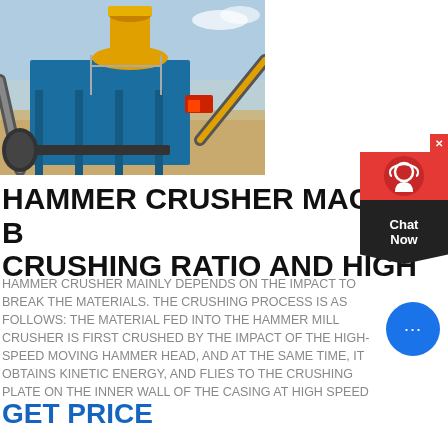[Figure (photo): Industrial hammer crusher machine at a mining/quarrying site, showing yellow and blue heavy machinery with conveyor belts on sandy ground under a clear sky.]
HAMMER CRUSHER MACHINE B CRUSHING RATIO AND HIGH
HAMMER CRUSHER MAINLY DEPENDS ON THE IMPACT TO BREAK THE MATERIALS. THE CRUSHING PROCESS IS AS FOLLOWS: THE MATERIAL FED INTO THE HAMMER MILL CRUSHER IS FIRST CRUSHED BY THE IMPACT OF THE HIGH-SPEED MOVING HAMMER HEAD, AND AT THE SAME TIME, IT OBTAINS KINETIC ENERGY, AND FLIES TO THE CRUSHING PLATE ON THE INNER WALL OF THE CASING AT HIGH SPEED
GET PRICE